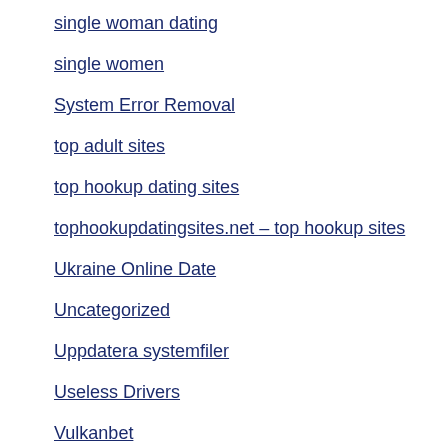single woman dating
single women
System Error Removal
top adult sites
top hookup dating sites
tophookupdatingsites.net – top hookup sites
Ukraine Online Date
Uncategorized
Uppdatera systemfiler
Useless Drivers
Vulkanbet
Where To Meet A Good Woman